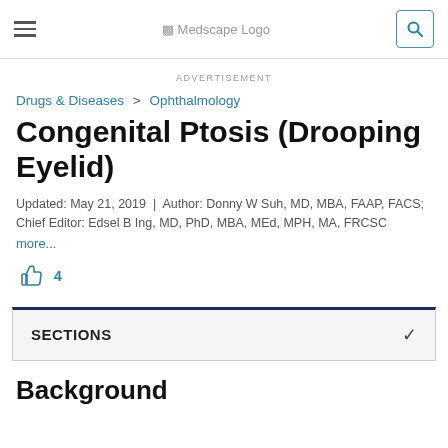Medscape Logo
ADVERTISEMENT
Drugs & Diseases > Ophthalmology
Congenital Ptosis (Drooping Eyelid)
Updated: May 21, 2019  |  Author: Donny W Suh, MD, MBA, FAAP, FACS; Chief Editor: Edsel B Ing, MD, PhD, MBA, MEd, MPH, MA, FRCSC
more...
4
SECTIONS
Background